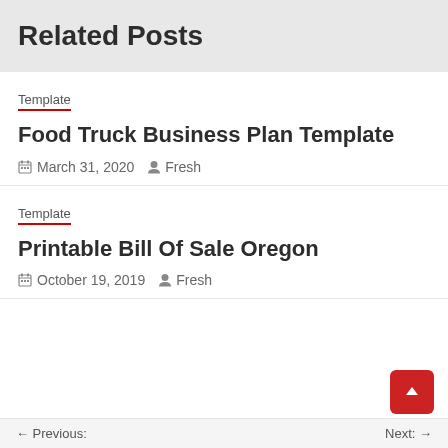Related Posts
Template
Food Truck Business Plan Template
March 31, 2020   Fresh
Template
Printable Bill Of Sale Oregon
October 19, 2019   Fresh
← Previous:   Next: →